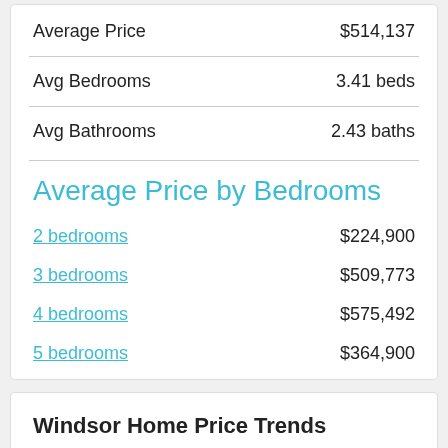| Metric | Value |
| --- | --- |
| Average Price | $514,137 |
| Avg Bedrooms | 3.41 beds |
| Avg Bathrooms | 2.43 baths |
Average Price by Bedrooms
| Bedrooms | Price |
| --- | --- |
| 2 bedrooms | $224,900 |
| 3 bedrooms | $509,773 |
| 4 bedrooms | $575,492 |
| 5 bedrooms | $364,900 |
Windsor Home Price Trends